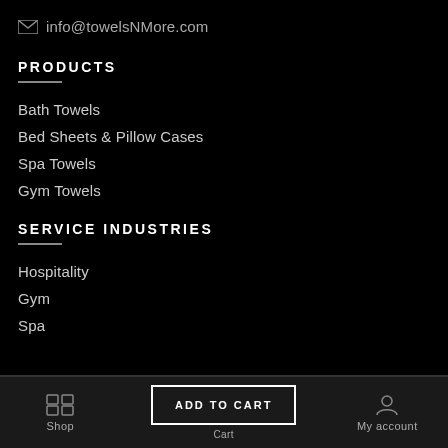info@towelsNMore.com
PRODUCTS
Bath Towels
Bed Sheets & Pillow Cases
Spa Towels
Gym Towels
SERVICE INDUSTRIES
Hospitality
Gym
Spa
Shop  ADD TO CART  Cart  My account